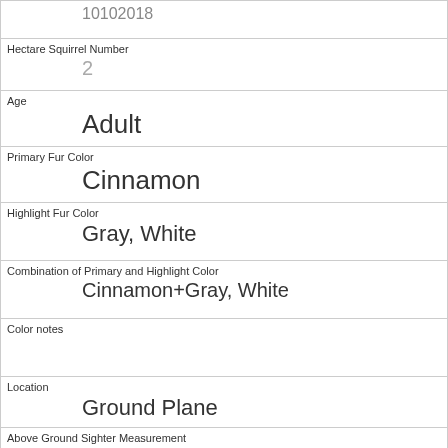| 10102018 |
| Hectare Squirrel Number | 2 |
| Age | Adult |
| Primary Fur Color | Cinnamon |
| Highlight Fur Color | Gray, White |
| Combination of Primary and Highlight Color | Cinnamon+Gray, White |
| Color notes |  |
| Location | Ground Plane |
| Above Ground Sighter Measurement | FALSE |
| Specific Location |  |
| Running | 0 |